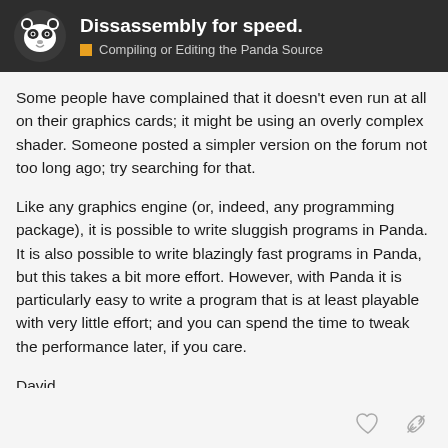Dissassembly for speed. | Compiling or Editing the Panda Source
Some people have complained that it doesn't even run at all on their graphics cards; it might be using an overly complex shader. Someone posted a simpler version on the forum not too long ago; try searching for that.
Like any graphics engine (or, indeed, any programming package), it is possible to write sluggish programs in Panda. It is also possible to write blazingly fast programs in Panda, but this takes a bit more effort. However, with Panda it is particularly easy to write a program that is at least playable with very little effort; and you can spend the time to tweak the performance later, if you care.
David